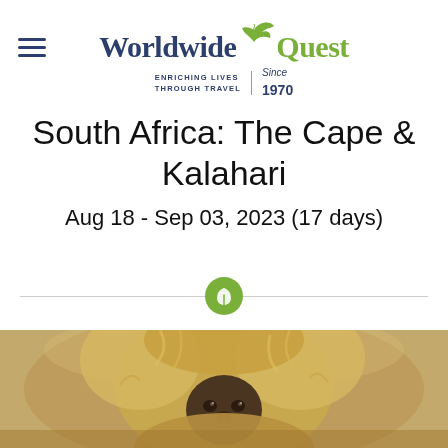Worldwide Quest — Enriching Lives Through Travel | Since 1970
South Africa: The Cape & Kalahari
Aug 18 - Sep 03, 2023 (17 days)
[Figure (photo): Close-up photograph of a primate (monkey/baboon) with fluffy golden-brown fur and dark face, looking at the camera]